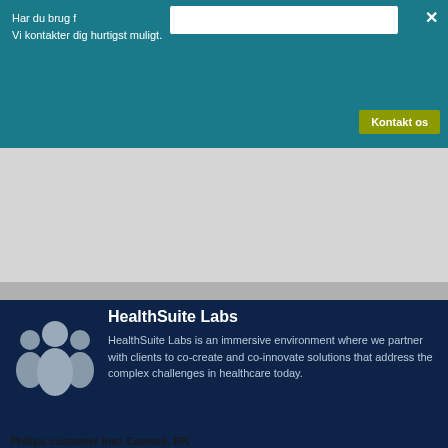Har du brug f... [popup overlay] Vi kontakter dig hurtigst muligt.
signs data directly from the monitor to the EMR system, we eliminate doublecharting. It has given us more time for direct patient care."
Philips customer Inez Caswell, RN
at Hardin Memorial Hospital
HealthSuite Labs
HealthSuite Labs is an immersive environment where we partner with clients to co-create and co-innovate solutions that address the complex challenges in healthcare today.